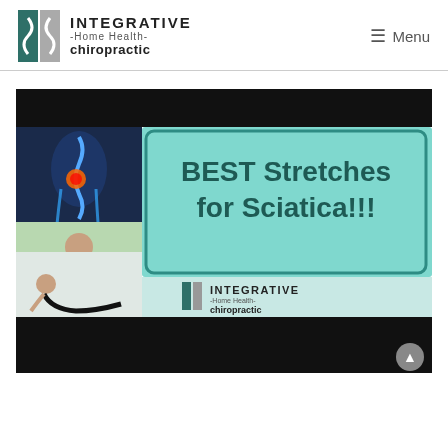INTEGRATIVE -Home Health- chiropractic | Menu
[Figure (screenshot): Video thumbnail showing 'BEST Stretches for Sciatica!!!' with spine anatomy and exercise images on the left, teal background with bold text on the right, and Integrative Home Health Chiropractic logo at bottom.]